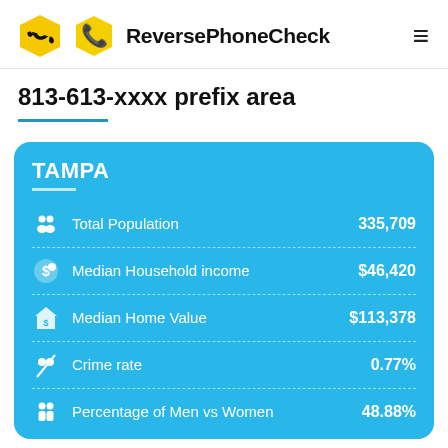ReversePhoneCheck
813-613-xxxx prefix area
| Category | Value |
| --- | --- |
| Total Population | 335,709 |
| Median Household income | $46,420 |
| Median Home Value | $113,378 |
| Crime rate | 0.77% |
| Percentage of Men vs Women | 48.88% |